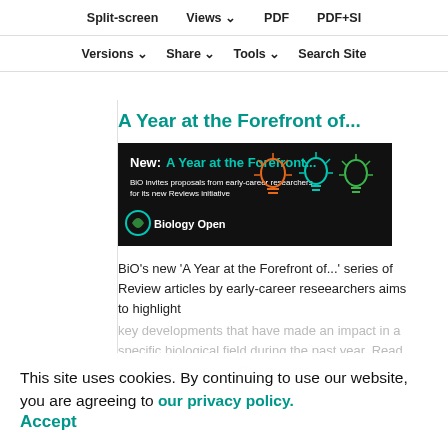Split-screen   Views ˅   PDF   PDF+SI
Versions ˅   Share ˅   Tools ˅   Search Site
A Year at the Forefront of...
[Figure (illustration): Black banner advertisement for Biology Open journal showing 'New: A Year at the Forefront...' with subtitle 'BiO invites proposals from early-career researchers for its new Reviews initiative' and light bulb icons in orange, teal and green colors, with Biology Open logo.]
BiO's new 'A Year at the Forefront of...' series of Review articles by early-career reseearchers aims to highlight key developments that have made an impact in a specific biological field during the past year. Read more and propose a Review here.
This site uses cookies. By continuing to use our website, you are agreeing to our privacy policy. Accept